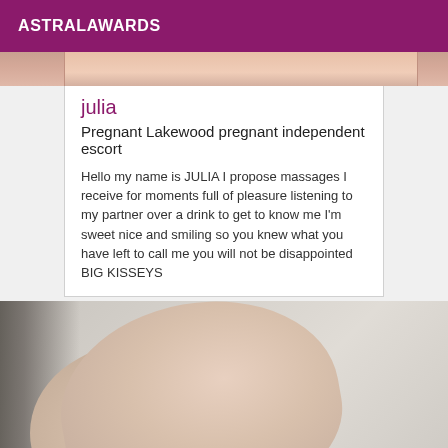ASTRALAWARDS
[Figure (photo): Partial cropped photo of a person at top of listing card]
julia
Pregnant Lakewood pregnant independent escort
Hello my name is JULIA I propose massages I receive for moments full of pleasure listening to my partner over a drink to get to know me I'm sweet nice and smiling so you knew what you have left to call me you will not be disappointed BIG KISSEYS
[Figure (photo): Partial photo of a person's body on gray background]